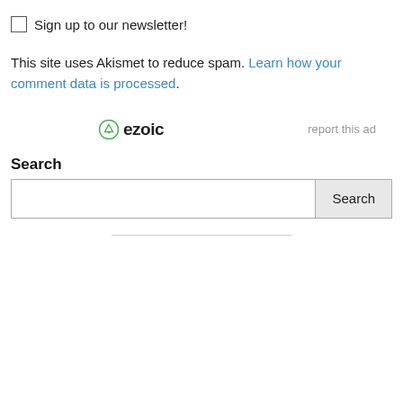☐ Sign up to our newsletter!
This site uses Akismet to reduce spam. Learn how your comment data is processed.
[Figure (logo): Ezoic logo with circular badge icon and bold 'ezoic' text, with 'report this ad' link to the right]
Search
[Search input field with Search button]